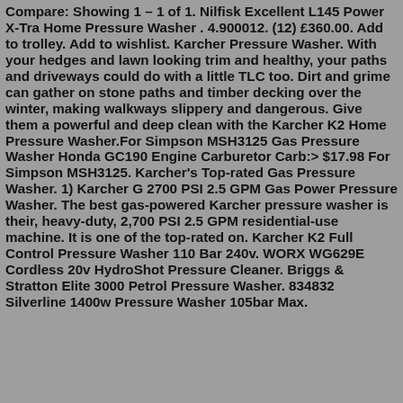Compare: Showing 1 – 1 of 1. Nilfisk Excellent L145 Power X-Tra Home Pressure Washer . 4.900012. (12) £360.00. Add to trolley. Add to wishlist. Karcher Pressure Washer. With your hedges and lawn looking trim and healthy, your paths and driveways could do with a little TLC too. Dirt and grime can gather on stone paths and timber decking over the winter, making walkways slippery and dangerous. Give them a powerful and deep clean with the Karcher K2 Home Pressure Washer.For Simpson MSH3125 Gas Pressure Washer Honda GC190 Engine Carburetor Carb:> $17.98 For Simpson MSH3125. Karcher's Top-rated Gas Pressure Washer. 1) Karcher G 2700 PSI 2.5 GPM Gas Power Pressure Washer. The best gas-powered Karcher pressure washer is their, heavy-duty, 2,700 PSI 2.5 GPM residential-use machine. It is one of the top-rated on. Karcher K2 Full Control Pressure Washer 110 Bar 240v. WORX WG629E Cordless 20v HydroShot Pressure Cleaner. Briggs & Stratton Elite 3000 Petrol Pressure Washer. 834832 Silverline 1400w Pressure Washer 105bar Max.